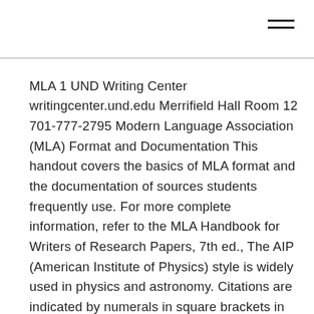MLA 1 UND Writing Center writingcenter.und.edu Merrifield Hall Room 12 701-777-2795 Modern Language Association (MLA) Format and Documentation This handout covers the basics of MLA format and the documentation of sources students frequently use. For more complete information, refer to the MLA Handbook for Writers of Research Papers, 7th ed., The AIP (American Institute of Physics) style is widely used in physics and astronomy. Citations are indicated by numerals in square brackets in consecutive numerical order throughout the text, with the references